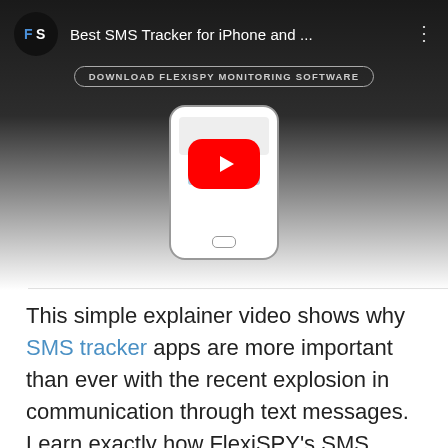[Figure (screenshot): YouTube video thumbnail showing 'Best SMS Tracker for iPhone and...' with FlexiSPY channel icon, DOWNLOAD FLEXISPY MONITORING SOFTWARE button, YouTube play button (red), and a phone outline illustration below]
This simple explainer video shows why SMS tracker apps are more important than ever with the recent explosion in communication through text messages. Learn exactly how FlexiSPY's SMS tracker works and how you can